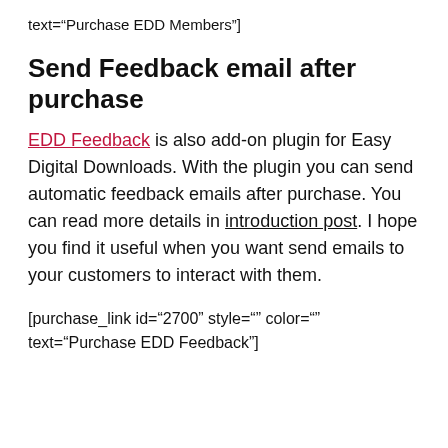text="Purchase EDD Members"]
Send Feedback email after purchase
EDD Feedback is also add-on plugin for Easy Digital Downloads. With the plugin you can send automatic feedback emails after purchase. You can read more details in introduction post. I hope you find it useful when you want send emails to your customers to interact with them.
[purchase_link id="2700" style="" color="" text="Purchase EDD Feedback"]